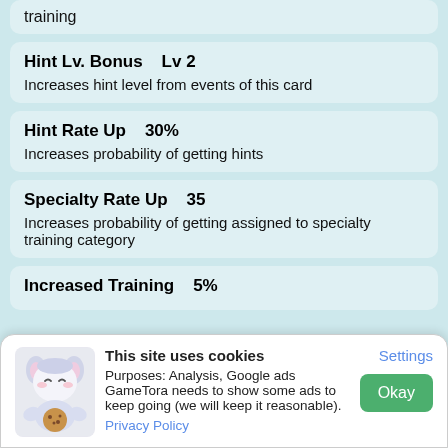training
Hint Lv. Bonus    Lv 2
Increases hint level from events of this card
Hint Rate Up    30%
Increases probability of getting hints
Specialty Rate Up    35
Increases probability of getting assigned to specialty training category
Increased Training    5%
This site uses cookies
Purposes: Analysis, Google ads
GameTora needs to show some ads to keep going (we will keep it reasonable).
Privacy Policy